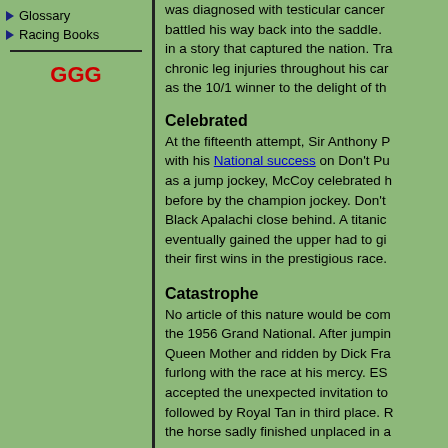Glossary
Racing Books
GGG
was diagnosed with testicular cancer battled his way back into the saddle. in a story that captured the nation. Tra chronic leg injuries throughout his car as the 10/1 winner to the delight of the
Celebrated
At the fifteenth attempt, Sir Anthony P with his National success on Don't Pu as a jump jockey, McCoy celebrated h before by the champion jockey. Don't Black Apalachi close behind. A titanic eventually gained the upper had to gi their first wins in the prestigious race.
Catastrophe
No article of this nature would be com the 1956 Grand National. After jumpin Queen Mother and ridden by Dick Fra furlong with the race at his mercy. ES accepted the unexpected invitation to followed by Royal Tan in third place. R the horse sadly finished unplaced in a
Carnage
Th th f d 90 b th